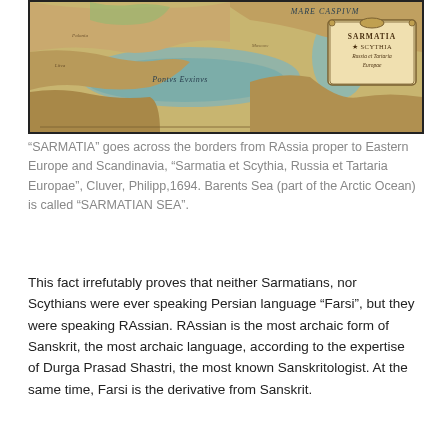[Figure (map): An antique historical map showing the Black Sea region (Pontus Euxinus), Caspian Sea (Mare Caspium), and surrounding territories. A cartouche in the upper right reads 'SARMATIA SCYTHIA Russia et Tartaria Europae'. The map is colorized in warm earth tones with Latin place names.]
“SARMATIA” goes across the borders from RAssia proper to Eastern Europe and Scandinavia, “Sarmatia et Scythia, Russia et Tartaria Europae”, Cluver, Philipp,1694. Barents Sea (part of the Arctic Ocean) is called “SARMATIAN SEA”.
This fact irrefutably proves that neither Sarmatians, nor Scythians were ever speaking Persian language “Farsi”, but they were speaking RAssian. RAssian is the most archaic form of Sanskrit, the most archaic language, according to the expertise of Durga Prasad Shastri, the most known Sanskritologist. At the same time, Farsi is the derivative from Sanskrit.